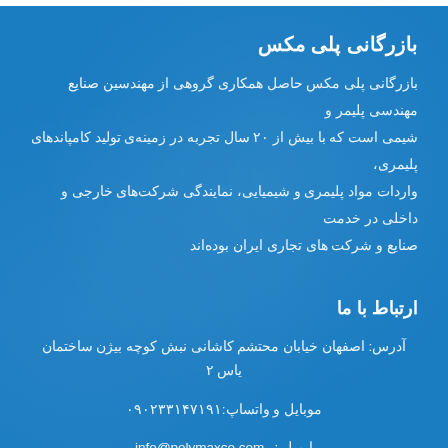بازرگانی پلی مکس
بازرگانی پلی مکس حاصل همکاری گروهی از مهندسین صنایع مهندسی پلیمر و شیمی است که با بیش از ۲۰ سال تجربه در زمینه‌ی تولید کامپاندهای پلیمری، واردات مواد پلیمری و شیمیایی، نمایندگی شرکت‌های خارجی و داخلی در خدمت صنایع و شرکت های تجاری ایران بوده‌اند
ارتباط با ما
آدرس: اصفهان خیابان محتشم کاشانی نبش کوچه بیژن ساختمان یاس ۲
موبایل و واتساپ:۰۹۰۲۳۳۱۴۷۱۹۱
ایمیل : info@polymaxco.com